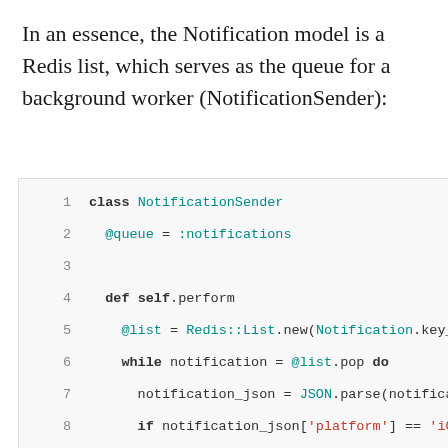In an essence, the Notification model is a Redis list, which serves as the queue for a background worker (NotificationSender):
[Figure (screenshot): Code block showing Ruby class NotificationSender with @queue = :notifications, def self.perform, @list = Redis::List.new(Notification.key_na..., while notification = @list.pop do, notification_json = JSON.parse(notificati..., if notification_json['platform'] == 'iOS'..., note = Grocer::Notification.new(, device_token: notification_json['toke..., alert: notification_json['message'],, sound: 'default',, badge: 0...]